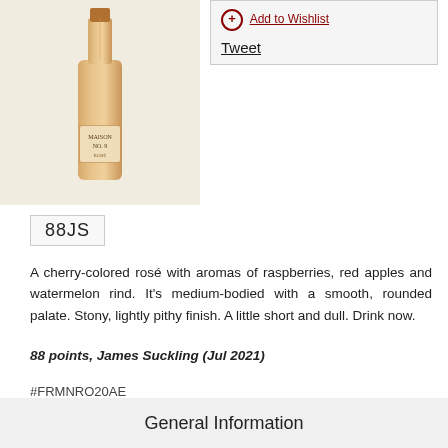[Figure (photo): A bottle of rosé wine with tall slim shape, pale orange/salmon color, labeled 'Maison No. 9' or similar, against a light background.]
Tweet
88JS
A cherry-colored rosé with aromas of raspberries, red apples and watermelon rind. It's medium-bodied with a smooth, rounded palate. Stony, lightly pithy finish. A little short and dull. Drink now.
88 points, James Suckling (Jul 2021)
#FRMNRO20AE
General Information